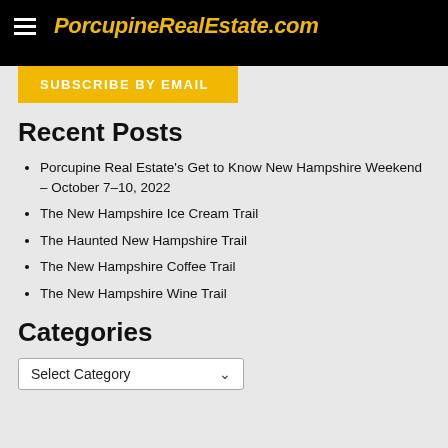PorcupineRealEstate.com
[Figure (other): Subscribe by email button (gold/yellow background, white text)]
Recent Posts
Porcupine Real Estate's Get to Know New Hampshire Weekend – October 7-10, 2022
The New Hampshire Ice Cream Trail
The Haunted New Hampshire Trail
The New Hampshire Coffee Trail
The New Hampshire Wine Trail
Categories
Select Category